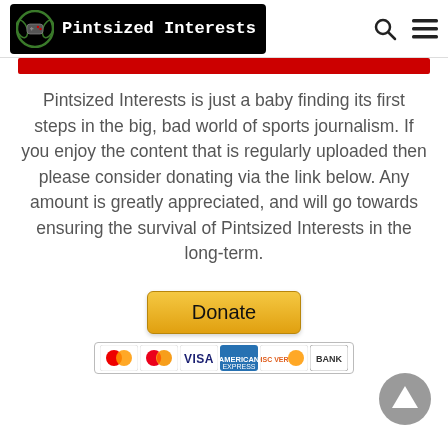Pintsized Interests
Pintsized Interests is just a baby finding its first steps in the big, bad world of sports journalism. If you enjoy the content that is regularly uploaded then please consider donating via the link below. Any amount is greatly appreciated, and will go towards ensuring the survival of Pintsized Interests in the long-term.
[Figure (other): Donate button with PayPal and payment card icons (Maestro, MasterCard, Visa, American Express, Discover, Bank)]